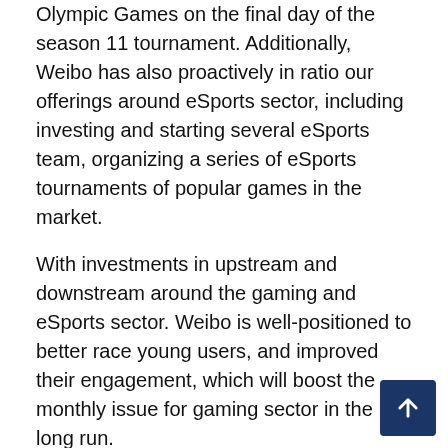Olympic Games on the final day of the season 11 tournament. Additionally, Weibo has also proactively in ratio our offerings around eSports sector, including investing and starting several eSports team, organizing a series of eSports tournaments of popular games in the market.
With investments in upstream and downstream around the gaming and eSports sector. Weibo is well-positioned to better race young users, and improved their engagement, which will boost the monthly issue for gaming sector in the long run.
Gaofei Wang
[Indiscernible]
Interpreter